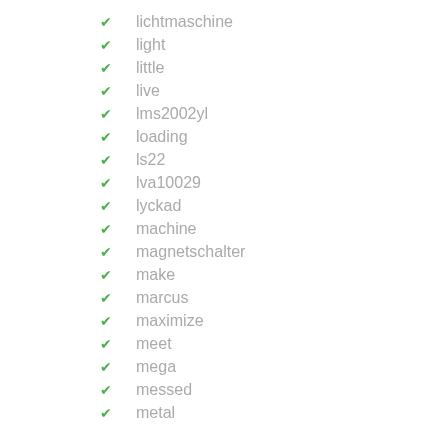lichtmaschine
light
little
live
lms2002yl
loading
ls22
lva10029
lyckad
machine
magnetschalter
make
marcus
maximize
meet
mega
messed
metal